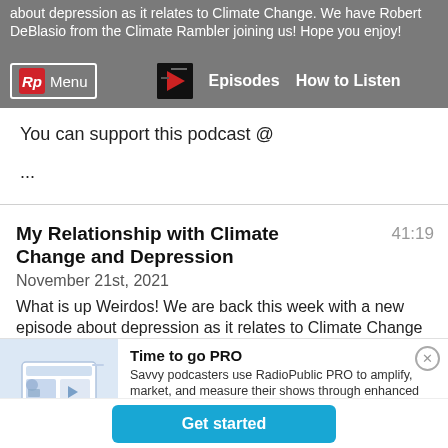about depression as it relates to Climate Change. We have Robert DeBlasio from the Climate Rambler joining us! Hope you enjoy!
You can support this podcast @
...
My Relationship with Climate Change and Depression
41:19
November 21st, 2021
What is up Weirdos! We are back this week with a new episode about depression as it relates to Climate Change
Time to go PRO
Savvy podcasters use RadioPublic PRO to amplify, market, and measure their shows through enhanced embeds, smart sharing, and calls to action that convert.
Get started